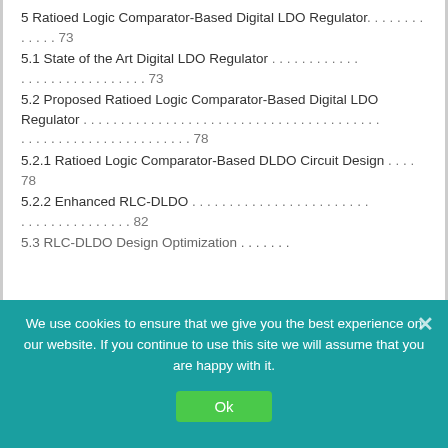5 Ratioed Logic Comparator-Based Digital LDO Regulator. . . . . . . . . . . . . 73
5.1 State of the Art Digital LDO Regulator . . . . . . . . . . . . . . . . . . . . . . . . . . . 73
5.2 Proposed Ratioed Logic Comparator-Based Digital LDO Regulator . . . . . . . . . . . . . . . . . . . . . . . . . . . . . . . . . . . . . . . . . . . 78
5.2.1 Ratioed Logic Comparator-Based DLDO Circuit Design . . . . 78
5.2.2 Enhanced RLC-DLDO . . . . . . . . . . . . . . . . . . . . . . . . . . . . . . . . . . 82
5.3 RLC-DLDO Design Optimization
We use cookies to ensure that we give you the best experience on our website. If you continue to use this site we will assume that you are happy with it.